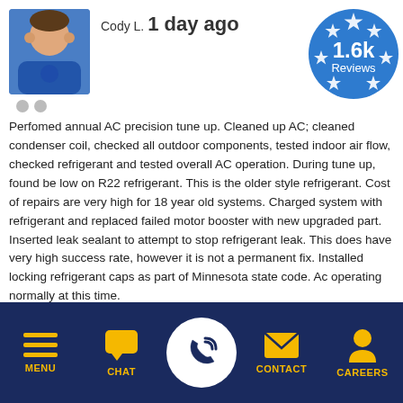Cody L. 1 day ago
Perfomed annual AC precision tune up. Cleaned up AC; cleaned condenser coil, checked all outdoor components, tested indoor air flow, checked refrigerant and tested overall AC operation. During tune up, found be low on R22 refrigerant. This is the older style refrigerant. Cost of repairs are very high for 18 year old systems. Charged system with refrigerant and replaced failed motor booster with new upgraded part. Inserted leak sealant to attempt to stop refrigerant leak. This does have very high success rate, however it is not a permanent fix. Installed locking refrigerant caps as part of Minnesota state code. Ac operating normally at this time.
[Figure (infographic): Blue circular badge with stars showing 1.6k Reviews]
Near 97th Pl N, Osseo, MN 55311
John P. 1 day ago
MENU  CHAT  CONTACT  CAREERS